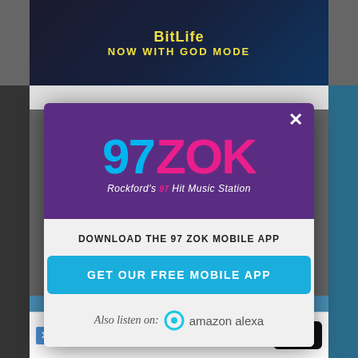[Figure (screenshot): Screenshot of a website with a modal popup for 97 ZOK radio station mobile app download. The modal has a purple header with the 97 ZOK logo, a download call-to-action, a blue button saying GET OUR FREE MOBILE APP, and an Amazon Alexa listen option. Background shows a dimmed website with a BitLife ad at top and an Equestic ad at bottom.]
97 ZOK — Rockford's #1 Hit Music Station
DOWNLOAD THE 97 ZOK MOBILE APP
GET OUR FREE MOBILE APP
Also listen on: amazon alexa
Track horse's inju
Equestic
Open